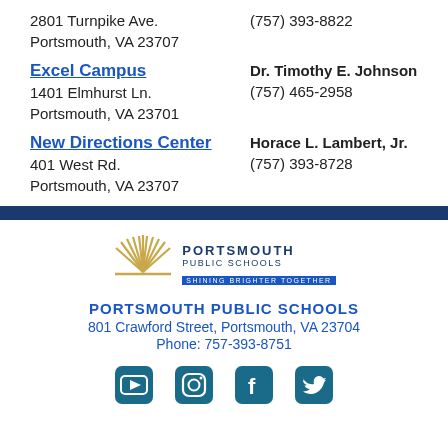2801 Turnpike Ave.
Portsmouth, VA 23707
(757) 393-8822
Excel Campus
1401 Elmhurst Ln.
Portsmouth, VA 23701
Dr. Timothy E. Johnson
(757) 465-2958
New Directions Center
401 West Rd.
Portsmouth, VA 23707
Horace L. Lambert, Jr.
(757) 393-8728
[Figure (logo): Portsmouth Public Schools logo with sunburst graphic and tagline 'Shining Brighter Together']
PORTSMOUTH PUBLIC SCHOOLS
801 Crawford Street, Portsmouth, VA 23704
Phone: 757-393-8751
[Figure (other): Social media icons: YouTube, Instagram, Facebook, Twitter]